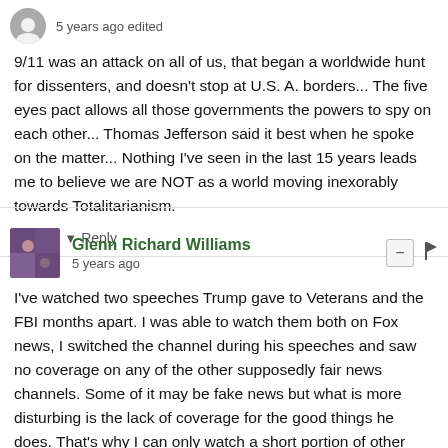5 years ago edited
9/11 was an attack on all of us, that began a worldwide hunt for dissenters, and doesn't stop at U.S. A. borders... The five eyes pact allows all those governments the powers to spy on each other... Thomas Jefferson said it best when he spoke on the matter... Nothing I've seen in the last 15 years leads me to believe we are NOT as a world moving inexorably towards Totalitarianism.
1 ^ | v Reply
Glenn Richard Williams
5 years ago
I've watched two speeches Trump gave to Veterans and the FBI months apart. I was able to watch them both on Fox news, I switched the channel during his speeches and saw no coverage on any of the other supposedly fair news channels. Some of it may be fake news but what is more disturbing is the lack of coverage for the good things he does. That's why I can only watch a short portion of other news coverage because invariably it harps on all the perceived negative coverage of Trump. Strange we didn't get this type of non-coverage or bad